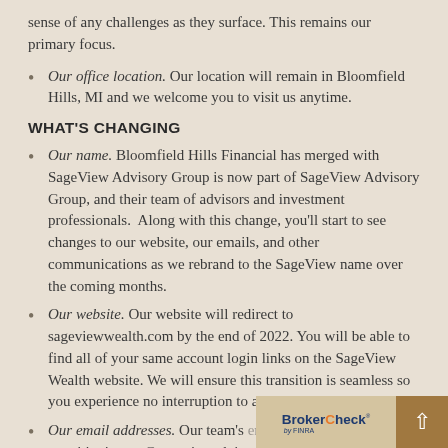sense of any challenges as they surface. This remains our primary focus.
Our office location. Our location will remain in Bloomfield Hills, MI and we welcome you to visit us anytime.
WHAT'S CHANGING
Our name. Bloomfield Hills Financial has merged with SageView Advisory Group is now part of SageView Advisory Group, and their team of advisors and investment professionals. Along with this change, you'll start to see changes to our website, our emails, and other communications as we rebrand to the SageView name over the coming months.
Our website. Our website will redirect to sageviewwealth.com by the end of 2022. You will be able to find all of your same account login links on the SageView Wealth website. We will ensure this transition is seamless so you experience no interruption to accessing your accounts.
Our email addresses. Our team's email addresses will be transitioning to @sageviewadviso...